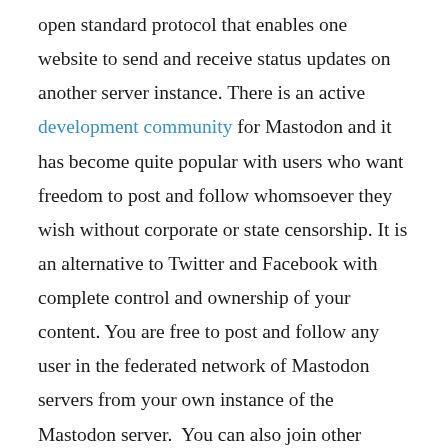open standard protocol that enables one website to send and receive status updates on another server instance. There is an active development community for Mastodon and it has become quite popular with users who want freedom to post and follow whomsoever they wish without corporate or state censorship. It is an alternative to Twitter and Facebook with complete control and ownership of your content. You are free to post and follow any user in the federated network of Mastodon servers from your own instance of the Mastodon server.  You can also join other server instances that tend to specialize on various subjects. Of course each Mastodon instance owner will have their own policies on what they will allow to post on their servers. Controlling your own servers allows you to